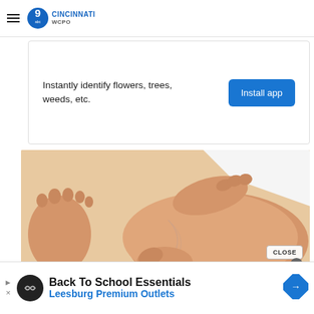WCPO 9 CINCINNATI
[Figure (infographic): Advertisement banner with text 'Instantly identify flowers, trees, weeds, etc.' and a blue 'Install app' button]
[Figure (photo): Close-up photo of hands massaging or examining a leg/calf area, with a foot visible on the left side, against a white background]
[Figure (infographic): Advertisement banner at bottom: 'Back To School Essentials / Leesburg Premium Outlets' with circular logo and navigation arrow icon on right]